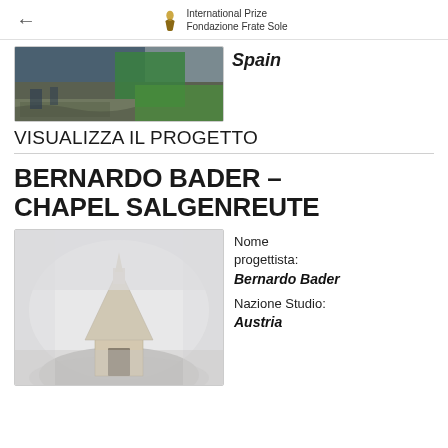International Prize Fondazione Frate Sole
[Figure (photo): Partial photo showing outdoor scene with green structure and steps, labeled Spain]
Spain
VISUALIZZA IL PROGETTO
BERNARDO BADER – CHAPEL SALGENREUTE
[Figure (photo): Photo of Chapel Salgenreute by Bernardo Bader, a small pointed wooden chapel in fog]
Nome progettista: Bernardo Bader Nazione Studio: Austria